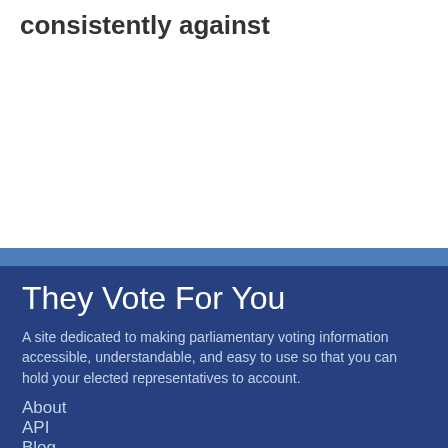consistently against
They Vote For You
A site dedicated to making parliamentary voting information accessible, understandable, and easy to use so that you can hold your elected representatives to account.
About
API
Blog
Help/FAQ
Licensing
Recent changes